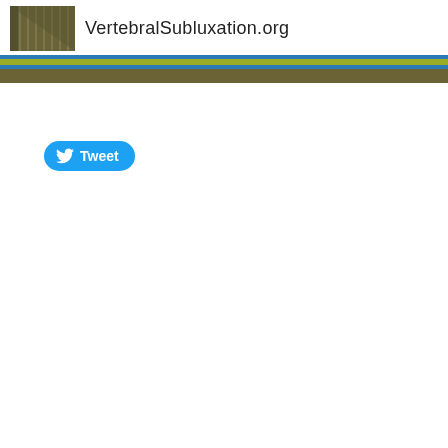VertebralSubluxation.org
[Figure (other): Tweet button with Twitter bird icon]
Tweet